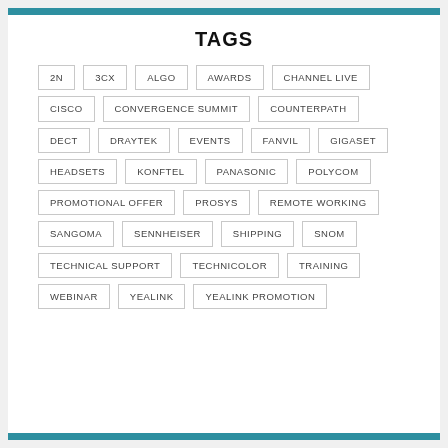TAGS
2N
3CX
ALGO
AWARDS
CHANNEL LIVE
CISCO
CONVERGENCE SUMMIT
COUNTERPATH
DECT
DRAYTEK
EVENTS
FANVIL
GIGASET
HEADSETS
KONFTEL
PANASONIC
POLYCOM
PROMOTIONAL OFFER
PROSYS
REMOTE WORKING
SANGOMA
SENNHEISER
SHIPPING
SNOM
TECHNICAL SUPPORT
TECHNICOLOR
TRAINING
WEBINAR
YEALINK
YEALINK PROMOTION